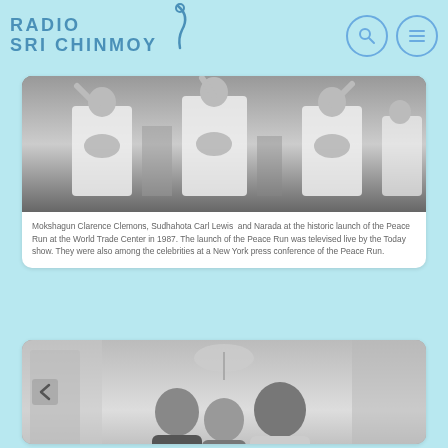Radio Sri Chinmoy
[Figure (photo): Black and white photo of Mokshagun Clarence Clemons, Sudhahota Carl Lewis and Narada at the historic launch of the Peace Run at the World Trade Center in 1987. Several people wearing white sweatshirts with logos are shown with hands raised.]
Mokshagun Clarence Clemons, Sudhahota Carl Lewis  and Narada at the historic launch of the Peace Run at the World Trade Center in 1987. The launch of the Peace Run was televised live by the Today show. They were also among the celebrities at a New York press conference of the Peace Run.
[Figure (photo): Black and white photo of three people posing together indoors, likely at a social gathering or event.]